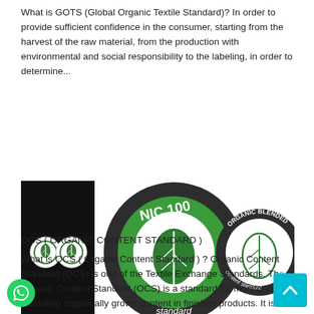What is GOTS (Global Organic Textile Standard)? In order to provide sufficient confidence in the consumer, starting from the harvest of the raw material, from the production with environmental and social responsibility to the labeling, in order to determine...
[Figure (logo): OCS logos: black rectangle with two GOTS circular green logos on the left, OCS 100 organic content standard logo (green circle with leaf and text), and Organic Blended Content Standard logo (green and dark circle with leaf)]
OCS ( ORGANİC CONTENT STANDARD )
What is OCS ( Organic Content Standard ) ? Organic Content Standard (OCS) is one of the Textile Exchange Standards. The Organic Content Standard (OCS) is a standard for monitoring and validating organically grown content in finished products. It is applied...